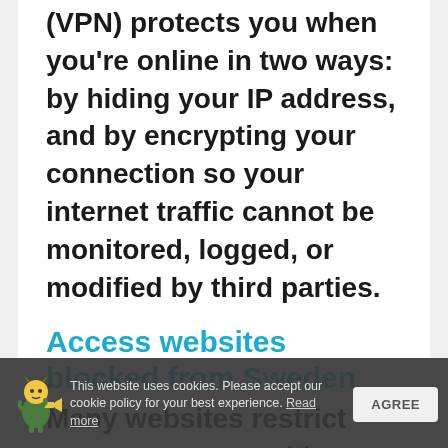(VPN) protects you when you're online in two ways: by hiding your IP address, and by encrypting your connection so your internet traffic cannot be monitored, logged, or modified by third parties.
Access websites blocked from Sweden
Many websites restrict access to users with Sweden IP addresses.
This website uses cookies. Please accept our cookie policy for your best experience. Read more